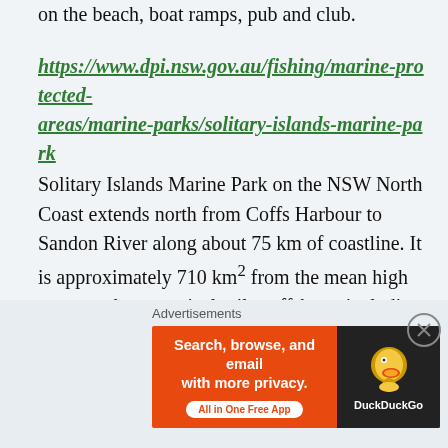on the beach, boat ramps, pub and club.
https://www.dpi.nsw.gov.au/fishing/marine-protected-areas/marine-parks/solitary-islands-marine-park
Solitary Islands Marine Park on the NSW North Coast extends north from Coffs Harbour to Sandon River along about 75 km of coastline. It is approximately 710 km² from the mean high water to three nautical miles offshore, including estuaries to their tidal limit. The park was established in January 1998 (prior to that it was a marine reserve since 1991) and its zones and management rules commenced in August 2002. Changes to rules regarding fishing from some ocean
Advertisements
[Figure (other): DuckDuckGo advertisement banner: 'Search, browse, and email with more privacy. All in One Free App' on orange background with DuckDuckGo logo on dark background.]